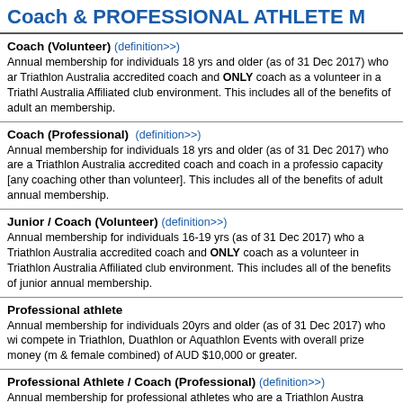Coach & PROFESSIONAL ATHLETE M...
Coach (Volunteer) (definition>>)
Annual membership for individuals 18 yrs and older (as of 31 Dec 2017) who are a Triathlon Australia accredited coach and ONLY coach as a volunteer in a Triathlon Australia Affiliated club environment. This includes all of the benefits of adult annual membership.
Coach (Professional) (definition>>)
Annual membership for individuals 18 yrs and older (as of 31 Dec 2017) who are a Triathlon Australia accredited coach and coach in a professional capacity [any coaching other than volunteer]. This includes all of the benefits of adult annual membership.
Junior / Coach (Volunteer) (definition>>)
Annual membership for individuals 16-19 yrs (as of 31 Dec 2017) who are a Triathlon Australia accredited coach and ONLY coach as a volunteer in a Triathlon Australia Affiliated club environment. This includes all of the benefits of junior annual membership.
Professional athlete
Annual membership for individuals 20yrs and older (as of 31 Dec 2017) who wish to compete in Triathlon, Duathlon or Aquathlon Events with overall prize money (male & female combined) of AUD $10,000 or greater.
Professional Athlete / Coach (Professional) (definition>>)
Annual membership for professional athletes who are a Triathlon Australia accredited coach and coach in a professional capacity [any coaching other than volunteer]. This includes all of the benefits of Professional Athlete annual membership.